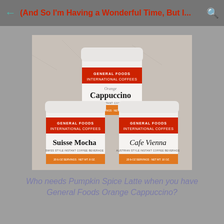(And So I'm Having a Wonderful Time, But I...
[Figure (photo): Three tins of General Foods International Coffees: Orange Cappuccino on top, Suisse Mocha on lower left, Cafe Vienna on lower right]
Who needs Pumpkin Spice Latte when you have General Foods Orange Cappuccino?